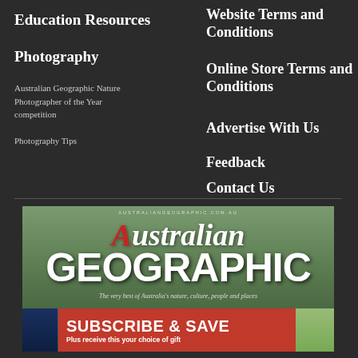Education Resources
Photography
Australian Geographic Nature Photographer of the Year competition
Photography Tips
Website Terms and Conditions
Online Store Terms and Conditions
Advertise With Us
Feedback
Contact Us
[Figure (illustration): Australian Geographic magazine cover showing a nature scene with trees, with the title 'Australian GEOGRAPHIC' and a red Subscribe & Save banner at the bottom reading 'Plus receive this your choice of gift']